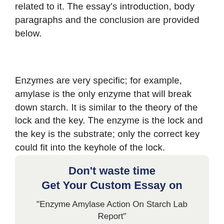related to it. The essay’s introduction, body paragraphs and the conclusion are provided below.
Enzymes are very specific; for example, amylase is the only enzyme that will break down starch. It is similar to the theory of the lock and the key. The enzyme is the lock and the key is the substrate; only the correct key could fit into the keyhole of the lock.
Don’t waste time
Get Your Custom Essay on
“Enzyme Amylase Action On Starch Lab Report”